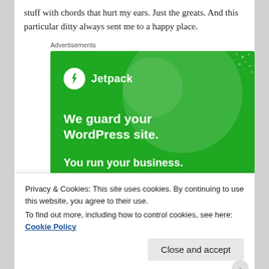stuff with chords that hurt my ears. Just the greats. And this particular ditty always sent me to a happy place.
Advertisements
[Figure (illustration): Jetpack advertisement banner with green background. Shows Jetpack logo (lightning bolt in circle) and text: 'We guard your WordPress site. You run your business.']
Privacy & Cookies: This site uses cookies. By continuing to use this website, you agree to their use.
To find out more, including how to control cookies, see here: Cookie Policy
Close and accept